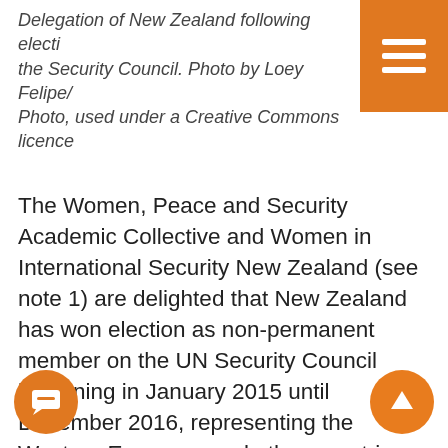Delegation of New Zealand following election to the Security Council. Photo by Loey Felipe/ Photo, used under a Creative Commons licence
The Women, Peace and Security Academic Collective and Women in International Security New Zealand (see note 1) are delighted that New Zealand has won election as non-permanent member on the UN Security Council beginning in January 2015 until December 2016, representing the Western European and other countries group. We see New Zealand as a global advocate for conflict and atrocities prevention, including the prevention of sexual and gender-based violence, and also an advocate for peacebuilding promoting gender-